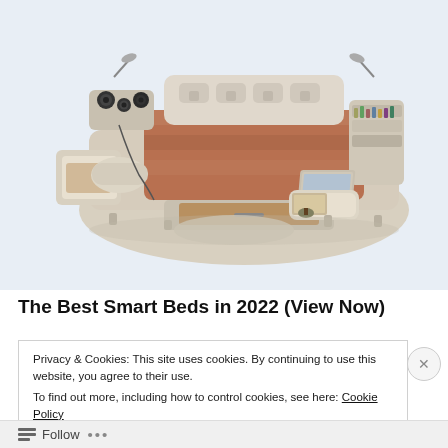[Figure (photo): A large beige multi-functional smart bed with integrated speakers, reading lamps, storage drawers, a reclining massage chair section on the left, shelving units at the headboard, a laptop on the right side, and various built-in compartments and accessories.]
The Best Smart Beds in 2022 (View Now)
Privacy & Cookies: This site uses cookies. By continuing to use this website, you agree to their use.
To find out more, including how to control cookies, see here: Cookie Policy
Close and accept
Follow ...